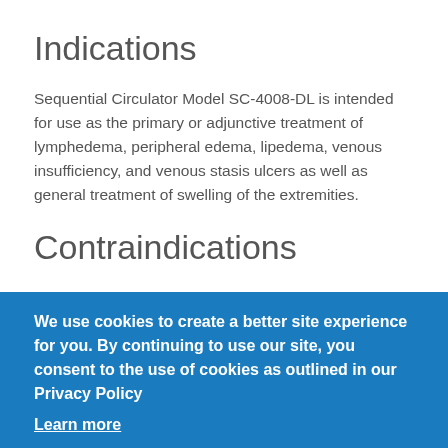Indications
Sequential Circulator Model SC-4008-DL is intended for use as the primary or adjunctive treatment of lymphedema, peripheral edema, lipedema, venous insufficiency, and venous stasis ulcers as well as general treatment of swelling of the extremities.
Contraindications
Pneumatic compression is contraindicated for patients with infections in the limb, including cellulitis, without appropriate antibiotic coverage, the presence of
We use cookies to create a better site experience for you. By continuing to use our site, you consent to the use of cookies as outlined in our Privacy Policy
Learn more